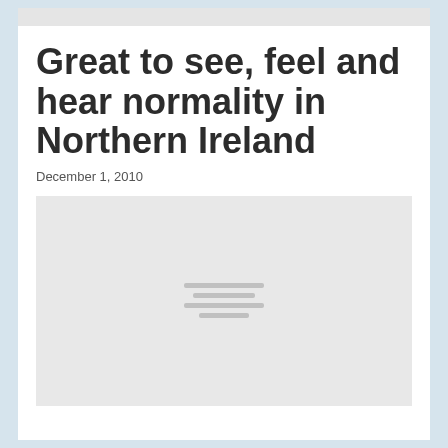Great to see, feel and hear normality in Northern Ireland
December 1, 2010
[Figure (photo): A placeholder image with a light grey background and four short horizontal lines in the center, representing a loading or unavailable image.]